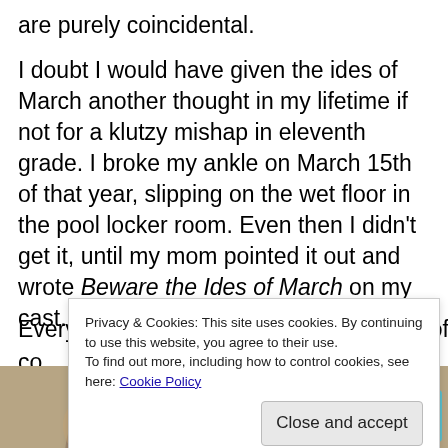are purely coincidental.
I doubt I would have given the ides of March another thought in my lifetime if not for a klutzy mishap in eleventh grade. I broke my ankle on March 15th of that year, slipping on the wet floor in the pool locker room. Even then I didn’t get it, until my mom pointed it out and wrote Beware the Ides of March on my cast. Everyone got a chuckle out of that. I got off easy co
Privacy & Cookies: This site uses cookies. By continuing to use this website, you agree to their use.
To find out more, including how to control cookies, see here: Cookie Policy
Close and accept
[Figure (photo): Vintage photo of a young couple outdoors, man and woman facing each other]